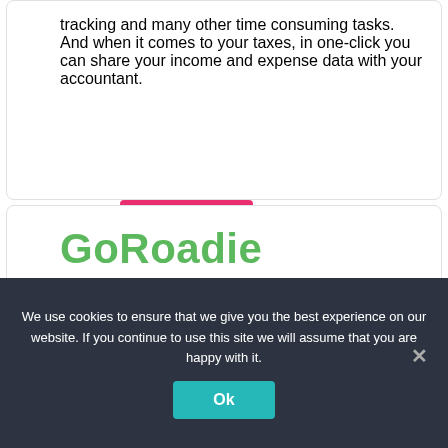tracking and many other time consuming tasks. And when it comes to your taxes, in one-click you can share your income and expense data with your accountant.
Find out more
GoRoadie
GoRoadie
We use cookies to ensure that we give you the best experience on our website. If you continue to use this site we will assume that you are happy with it.
Ok